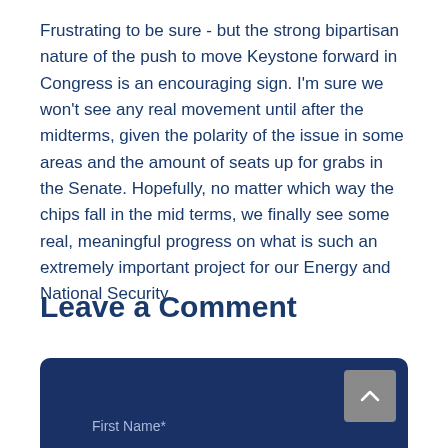Frustrating to be sure - but the strong bipartisan nature of the push to move Keystone forward in Congress is an encouraging sign. I'm sure we won't see any real movement until after the midterms, given the polarity of the issue in some areas and the amount of seats up for grabs in the Senate. Hopefully, no matter which way the chips fall in the mid terms, we finally see some real, meaningful progress on what is such an extremely important project for our Energy and National Security.
Leave a Comment
[Figure (other): Dark blue comment form area with a scroll-to-top button (gray square with upward chevron) and a 'First Name*' label at the bottom]